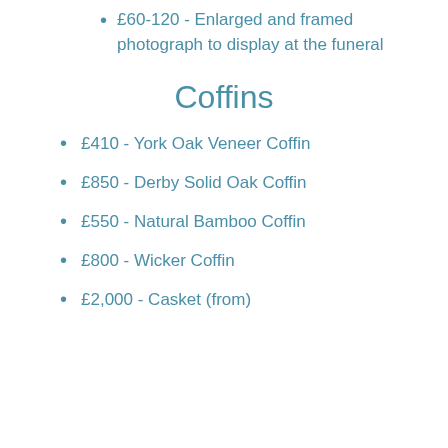£60-120 - Enlarged and framed photograph to display at the funeral
Coffins
£410 - York Oak Veneer Coffin
£850 - Derby Solid Oak Coffin
£550 - Natural Bamboo Coffin
£800 - Wicker Coffin
£2,000 - Casket (from)